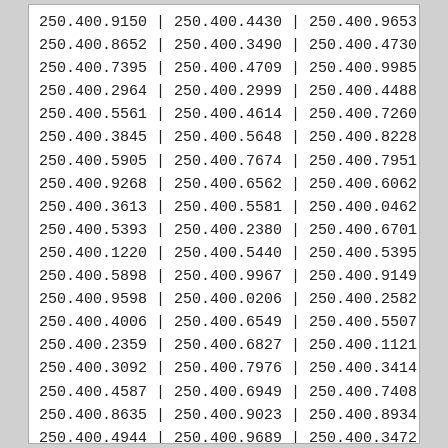| Col1 | Col2 | Col3 |
| --- | --- | --- |
| 250.400.9150 | 250.400.4430 | 250.400.9653 |
| 250.400.8652 | 250.400.3490 | 250.400.4730 |
| 250.400.7395 | 250.400.4709 | 250.400.9985 |
| 250.400.2964 | 250.400.2999 | 250.400.4488 |
| 250.400.5561 | 250.400.4614 | 250.400.7260 |
| 250.400.3845 | 250.400.5648 | 250.400.8228 |
| 250.400.5905 | 250.400.7674 | 250.400.7951 |
| 250.400.9268 | 250.400.6562 | 250.400.6062 |
| 250.400.3613 | 250.400.5581 | 250.400.0462 |
| 250.400.5393 | 250.400.2380 | 250.400.6701 |
| 250.400.1220 | 250.400.5440 | 250.400.5395 |
| 250.400.5898 | 250.400.9967 | 250.400.9149 |
| 250.400.9598 | 250.400.0206 | 250.400.2582 |
| 250.400.4006 | 250.400.6549 | 250.400.5507 |
| 250.400.2359 | 250.400.6827 | 250.400.1121 |
| 250.400.3092 | 250.400.7976 | 250.400.3414 |
| 250.400.4587 | 250.400.6949 | 250.400.7408 |
| 250.400.8635 | 250.400.9023 | 250.400.8934 |
| 250.400.4944 | 250.400.9689 | 250.400.3472 |